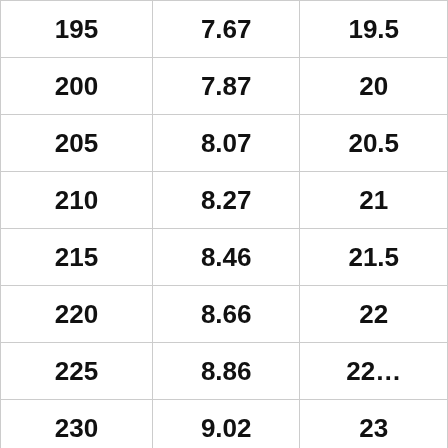| 195 | 7.67 | 19.5 |
| 200 | 7.87 | 20 |
| 205 | 8.07 | 20.5 |
| 210 | 8.27 | 21 |
| 215 | 8.46 | 21.5 |
| 220 | 8.66 | 22 |
| 225 | 8.86 | 22… |
| 230 | 9.02 | 23 |